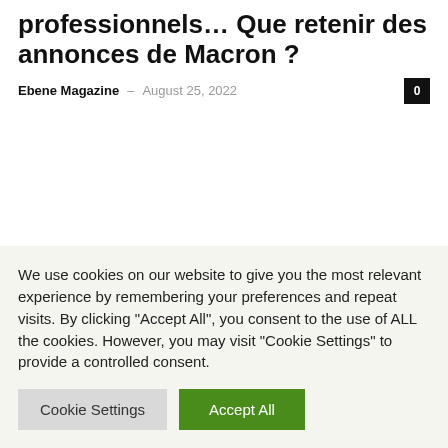professionnels… Que retenir des annonces de Macron ?
Ebene Magazine – August 25, 2022
We use cookies on our website to give you the most relevant experience by remembering your preferences and repeat visits. By clicking "Accept All", you consent to the use of ALL the cookies. However, you may visit "Cookie Settings" to provide a controlled consent.